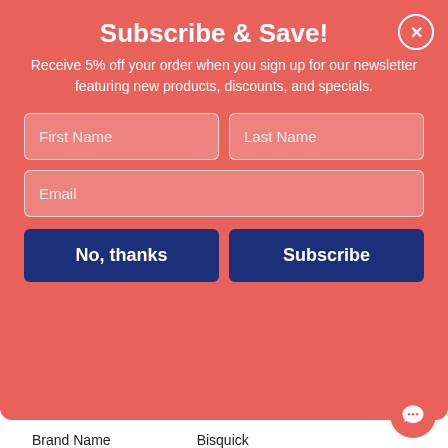Subscribe & Save!
Receive 5% off your order when you sign up for our newsletter featuring new products, discounts, and specials.
|  |  |
| --- | --- |
| Brand Name | Bisquick |
| Size | 16 Ounces |
| Food Ingredients | Rice Flour, Sugar, Leavening (Baking Soda, Sodium Aluminum Phosphate, Monocalcium Phosphate), Modified Potato Starch, Salt, Xanthan Gum. |
| Manufacturer Shelf Life | 465 days |
| Quantity Per Box/Pack/Carton | 6 / 16 Ounces / Case |